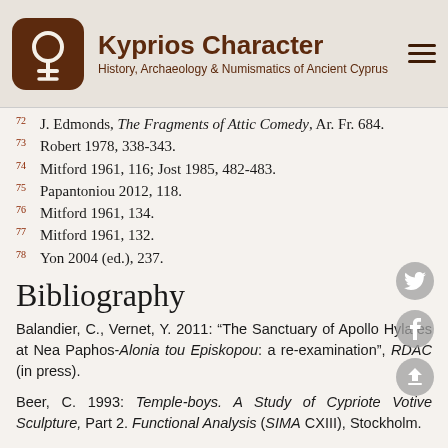Kyprios Character — History, Archaeology & Numismatics of Ancient Cyprus
72 J. Edmonds, The Fragments of Attic Comedy, Ar. Fr. 684.
73 Robert 1978, 338-343.
74 Mitford 1961, 116; Jost 1985, 482-483.
75 Papantoniou 2012, 118.
76 Mitford 1961, 134.
77 Mitford 1961, 132.
78 Yon 2004 (ed.), 237.
Bibliography
Balandier, C., Vernet, Y. 2011: “The Sanctuary of Apollo Hylates at Nea Paphos-Alonia tou Episkopou: a re-examination”, RDAC (in press).
Beer, C. 1993: Temple-boys. A Study of Cypriote Votive Sculpture, Part 2. Functional Analysis (SIMA CXIII), Stockholm.